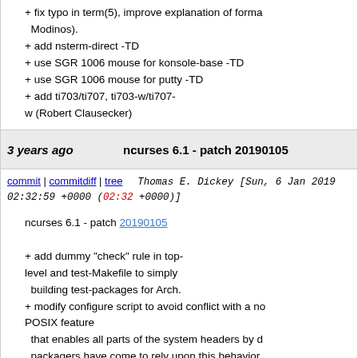+ fix typo in term(5), improve explanation of forma Modinos).
+ add nsterm-direct -TD
+ use SGR 1006 mouse for konsole-base -TD
+ use SGR 1006 mouse for putty -TD
+ add ti703/ti707, ti703-w/ti707-w (Robert Clausecker)
3 years ago   ncurses 6.1 - patch 20190105
commit | commitdiff | tree   Thomas E. Dickey [Sun, 6 Jan 2019 02:32:59 +0000 (02:32 +0000)]
ncurses 6.1 - patch 20190105
+ add dummy "check" rule in top-level and test-Makefile to simply building test-packages for Arch.
+ modify configure script to avoid conflict with a no POSIX feature that enables all parts of the system headers by d packagers have come to rely upon this behavior
+ update config.guess, config.sub
3 years ago   ncurses 6.1 - patch 20181229
commit | commitdiff | tree   Thomas E. Dickey [Sun, 30 Dec 2018 01:55:39 +0000 (01:55 +0000)]